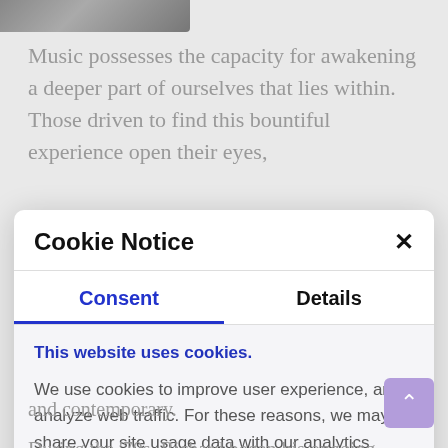[Figure (photo): Partial photo visible at top-left corner of page behind modal]
Music possesses the capacity for awakening a deeper part of ourselves that lies within. Those driven to find this bountiful experience open their eyes,
Cookie Notice
Consent	Details
This website uses cookies.
We use cookies to improve user experience, and analyze web traffic. For these reasons, we may share your site usage data with our analytics partners.
and contemporary.
During the '70s, Richard began his ongoing research